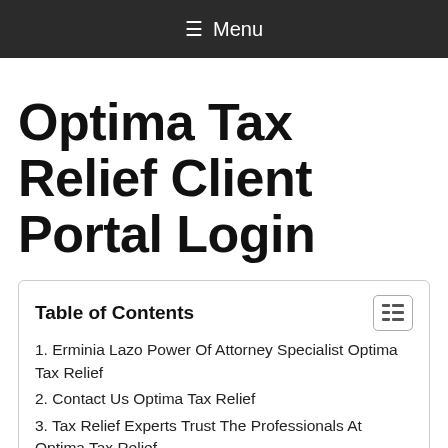≡ Menu
Optima Tax Relief Client Portal Login
Table of Contents
1. Erminia Lazo Power Of Attorney Specialist Optima Tax Relief
2. Contact Us Optima Tax Relief
3. Tax Relief Experts Trust The Professionals At Optima Tax Relief